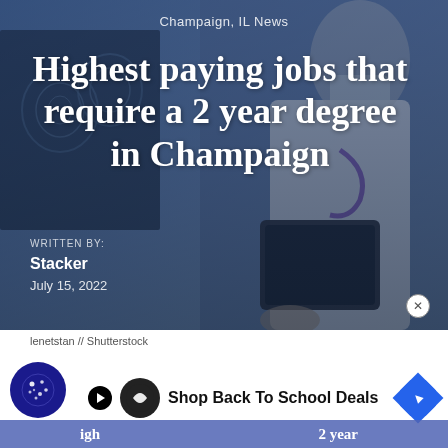Champaign, IL News
Highest paying jobs that require a 2 year degree in Champaign
WRITTEN BY:
Stacker
July 15, 2022
lenetstan // Shutterstock
[Figure (photo): Hero image of a medical professional in a white coat holding a tablet, with X-ray images in background. Blue-toned, used as article header background.]
Shop Back To School Deals